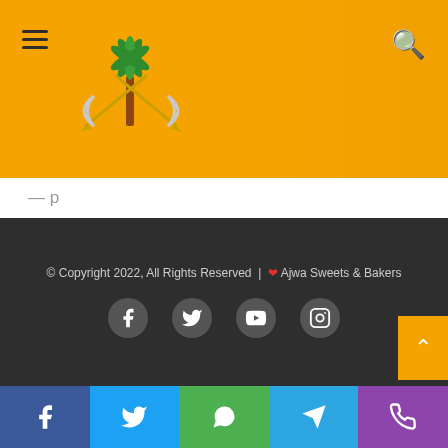[Figure (logo): Ajwa Sweets & Bakers logo with palm tree and crossed swords, on orange header background]
Urdu Corner
urdu kahaniyan
Urdu stories
women's fashion
© Copyright 2022, All Rights Reserved | ❤ Ajwa Sweets & Bakers